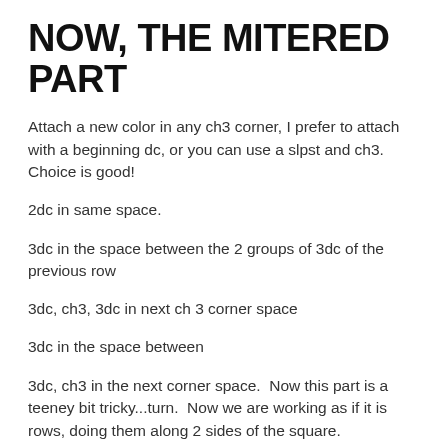NOW, THE MITERED PART
Attach a new color in any ch3 corner, I prefer to attach with a beginning dc, or you can use a slpst and ch3. Choice is good!
2dc in same space.
3dc in the space between the 2 groups of 3dc of the previous row
3dc, ch3, 3dc in next ch 3 corner space
3dc in the space between
3dc, ch3 in the next corner space.  Now this part is a teeney bit tricky...turn.  Now we are working as if it is rows, doing them along 2 sides of the square.
Advertisements
[Figure (logo): WordPress advertisement banner with dark navy background and WordPress logo (W in circle) on the right side]